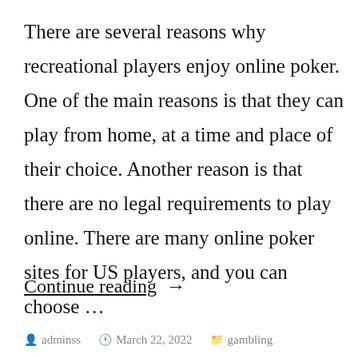There are several reasons why recreational players enjoy online poker. One of the main reasons is that they can play from home, at a time and place of their choice. Another reason is that there are no legal requirements to play online. There are many online poker sites for US players, and you can choose …
Continue reading →
adminss   March 22, 2022   gambling